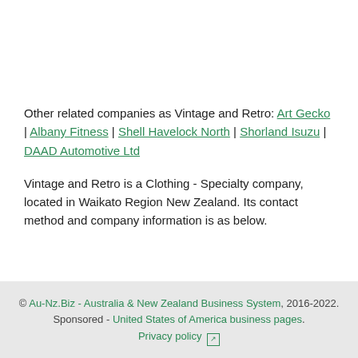Other related companies as Vintage and Retro: Art Gecko | Albany Fitness | Shell Havelock North | Shorland Isuzu | DAAD Automotive Ltd
Vintage and Retro is a Clothing - Specialty company, located in Waikato Region New Zealand. Its contact method and company information is as below.
© Au-Nz.Biz - Australia & New Zealand Business System, 2016-2022. Sponsored - United States of America business pages. Privacy policy